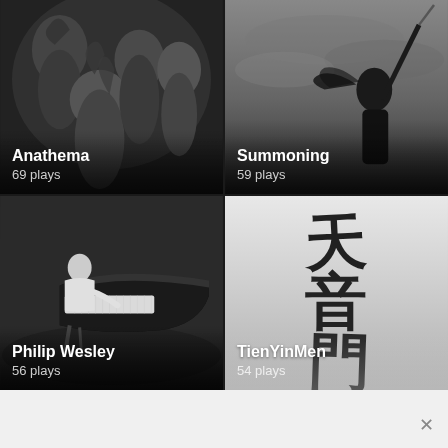[Figure (photo): Black and white photo of a group of people (Anathema band members) with curly hair, looking down]
Anathema
69 plays
[Figure (photo): Black and white misty photo of a figure holding a sword or staff against cloudy sky (Summoning)]
Summoning
59 plays
[Figure (photo): Black and white photo of Philip Wesley seated at a grand piano]
Philip Wesley
56 plays
[Figure (photo): Light gray background with large black Chinese calligraphy characters representing TienYinMen]
TienYinMen
54 plays